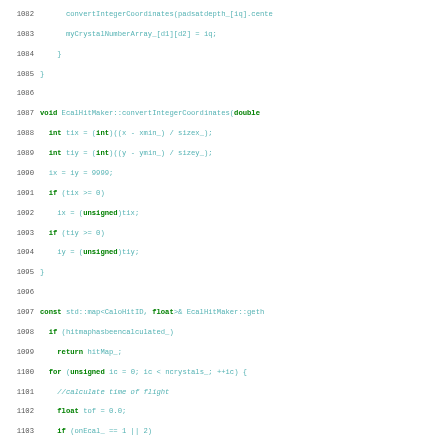Source code listing, lines 1082-1111, C++ EcalHitMaker implementation